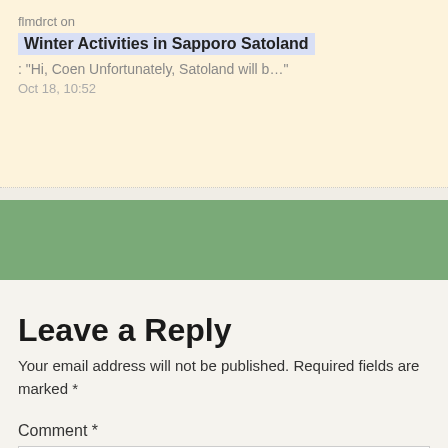flmdrct on
Winter Activities in Sapporo Satoland
: “Hi, Coen Unfortunately, Satoland will b…”
Oct 18, 10:52
Leave a Reply
Your email address will not be published. Required fields are marked *
Comment *